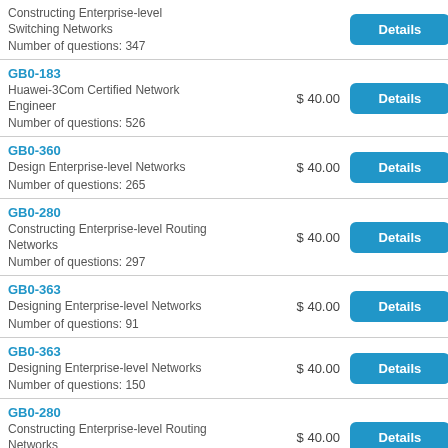| Product | Price | Action |
| --- | --- | --- |
| Constructing Enterprise-level Switching Networks
Number of questions: 347 |  | Details |
| GB0-183
Huawei-3Com Certified Network Engineer
Number of questions: 526 | $ 40.00 | Details |
| GB0-360
Design Enterprise-level Networks
Number of questions: 265 | $ 40.00 | Details |
| GB0-280
Constructing Enterprise-level Routing Networks
Number of questions: 297 | $ 40.00 | Details |
| GB0-363
Designing Enterprise-level Networks
Number of questions: 91 | $ 40.00 | Details |
| GB0-363
Designing Enterprise-level Networks
Number of questions: 150 | $ 40.00 | Details |
| GB0-280
Constructing Enterprise-level Routing Networks
Number of questions: 400 | $ 40.00 | Details |